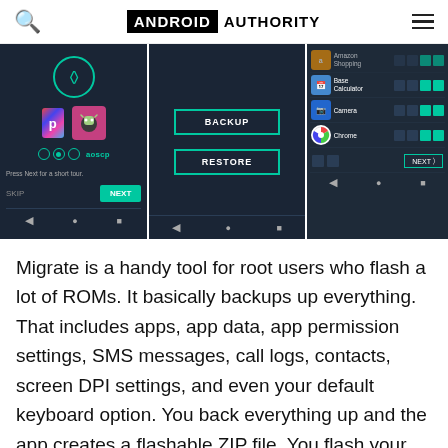ANDROID AUTHORITY
[Figure (screenshot): Three Android app screenshots of Migrate app showing setup screen with app icons, backup/restore screen, and app selection screen with Amazon Shopping, Base Calculator, Camera, Chrome listed with checkboxes]
Migrate is a handy tool for root users who flash a lot of ROMs. It basically backups up everything. That includes apps, app data, app permission settings, SMS messages, call logs, contacts, screen DPI settings, and even your default keyboard option. You back everything up and the app creates a flashable ZIP file. You flash your new ROM and then flash the ZIP created by Migrate.